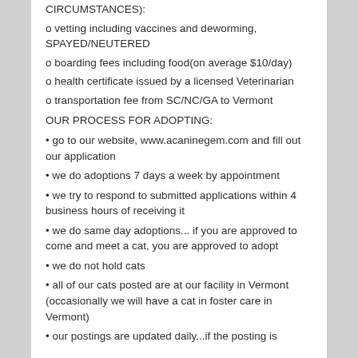CIRCUMSTANCES):
o vetting including vaccines and deworming, SPAYED/NEUTERED
o boarding fees including food(on average $10/day)
o health certificate issued by a licensed Veterinarian
o transportation fee from SC/NC/GA to Vermont
OUR PROCESS FOR ADOPTING:
• go to our website, www.acaninegem.com and fill out our application
• we do adoptions 7 days a week by appointment
• we try to respond to submitted applications within 4 business hours of receiving it
• we do same day adoptions... if you are approved to come and meet a cat, you are approved to adopt
• we do not hold cats
• all of our cats posted are at our facility in Vermont (occasionally we will have a cat in foster care in Vermont)
• our postings are updated daily...if the posting is